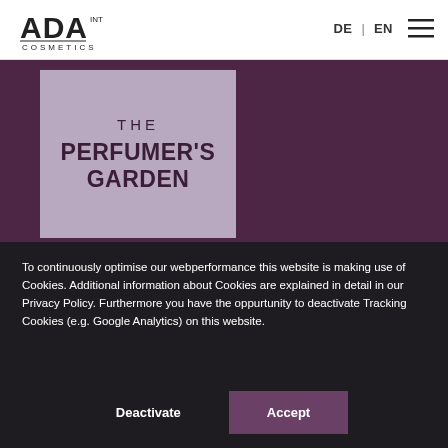[Figure (logo): ADA INT COSMETICS logo in dark color]
DE | EN [hamburger menu]
[Figure (illustration): Dark purple hero banner with a lighter purple product box showing 'THE PERFUMER'S GARDEN' text]
To continuously optimise our webperformance this website is making use of Cookies. Additional information about Cookies are explained in detail in our Privacy Policy. Furthermore you have the oppurtunity to deactivate Tracking Cookies (e.g. Google Analytics) on this website.
Deactivate
Accept